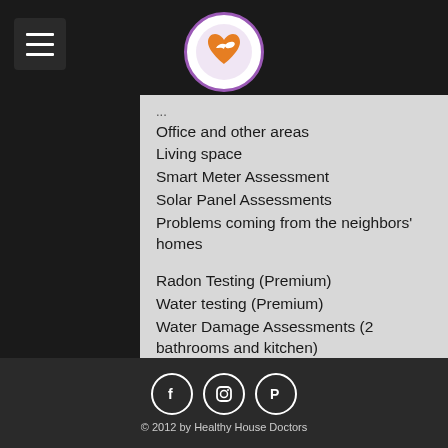Healthy House Doctors logo and navigation
Office and other areas
Living space
Smart Meter Assessment
Solar Panel Assessments
Problems coming from the neighbors' homes
Radon Testing (Premium)
Water testing (Premium)
Water Damage Assessments (2 bathrooms and kitchen)
Outdoor / 'Neighborhood' Assessment
Walk through of entire home;
*test kits are not included in the assessment price
**Data can be logged for 12-48 hours
© 2012 by Healthy House Doctors